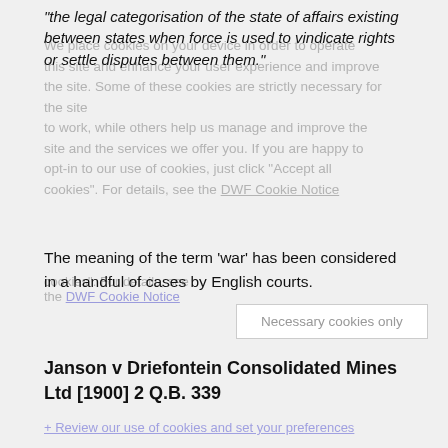"the legal categorisation of the state of affairs existing between states when force is used to vindicate rights or settle disputes between them."
The meaning of the term 'war' has been considered in a handful of cases by English courts.
Janson v Driefontein Consolidated Mines Ltd [1900] 2 Q.B. 339
Here the court was considering the insurance of a shipment of gold owned by a Transvaal company that was seized by Transvaal just prior to the outbreak of the Boer War. At first instance, the court wrote: